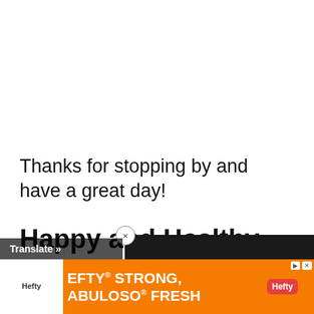Thanks for stopping by and have a great day!
Happy and Healthy Cooking
xo Anna and
[Figure (screenshot): Video player showing error: 'This video file cannot be played. (Error Code: 2 24003)' with a close button and play arrow icon on dark background]
[Figure (screenshot): Facebook share button (blue with f icon) and Twitter share button (cyan blue)]
[Figure (screenshot): Advertisement banner: Hefty brand ad with orange background showing text 'EFTY STRONG, ABULOSO FRESH' with Hefty logo badge and close/ad icons. Also shows Translate button overlay.]